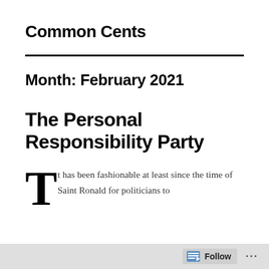Common Cents
Month: February 2021
The Personal Responsibility Party
T t has been fashionable at least since the time of Saint Ronald for politicians to
Follow ...